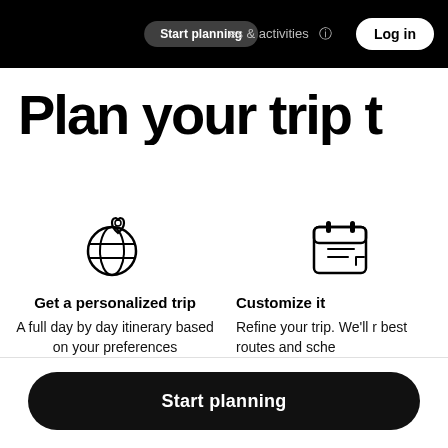Start planning   places & activities   Log in
Plan your trip t
[Figure (illustration): Globe with map pin location marker icon (outline style)]
Get a personalized trip
A full day by day itinerary based on your preferences
[Figure (illustration): Calendar/planner icon (outline style, partial view)]
Customize it
Refine your trip. We'll r best routes and sche
Start planning